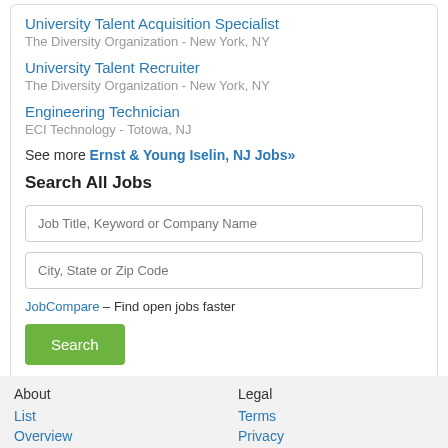University Talent Acquisition Specialist
The Diversity Organization - New York, NY
University Talent Recruiter
The Diversity Organization - New York, NY
Engineering Technician
ECI Technology - Totowa, NJ
See more Ernst & Young Iselin, NJ Jobs»
Search All Jobs
Job Title, Keyword or Company Name
City, State or Zip Code
JobCompare – Find open jobs faster
Search
About    Legal
List      Terms
Overview  Privacy